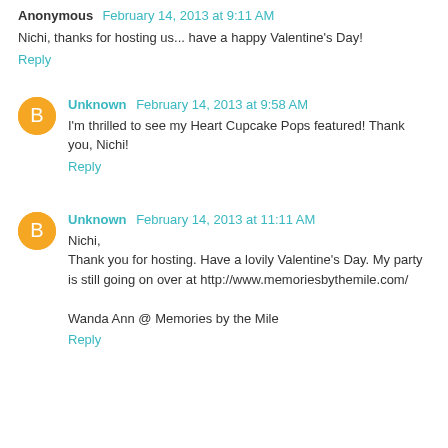Anonymous February 14, 2013 at 9:11 AM
Nichi, thanks for hosting us... have a happy Valentine's Day!
Reply
Unknown February 14, 2013 at 9:58 AM
I'm thrilled to see my Heart Cupcake Pops featured! Thank you, Nichi!
Reply
Unknown February 14, 2013 at 11:11 AM
Nichi,
Thank you for hosting. Have a lovily Valentine's Day. My party is still going on over at http://www.memoriesbythemile.com/

Wanda Ann @ Memories by the Mile
Reply